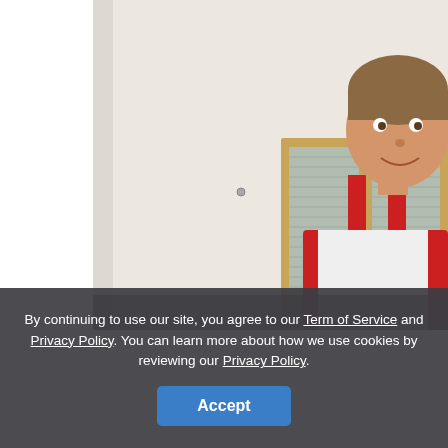[Figure (photo): A smiling worker/handyman in a red bib overalls and white t-shirt, standing in a room with a beige/cream wall and a wooden-framed window with horizontal blinds behind him.]
By continuing to use our site, you agree to our Term of Service and Privacy Policy. You can learn more about how we use cookies by reviewing our Privacy Policy.